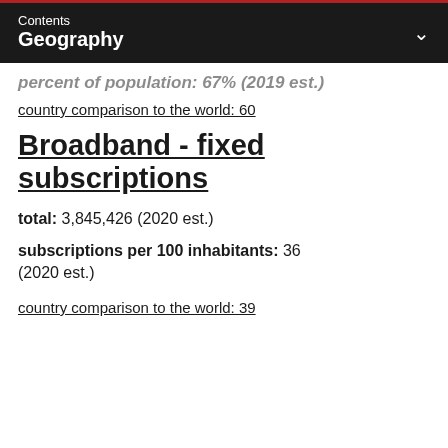Contents
Geography
percent of population: 67% (2019 est.)
country comparison to the world: 60
Broadband - fixed subscriptions
total: 3,845,426 (2020 est.)
subscriptions per 100 inhabitants: 36 (2020 est.)
country comparison to the world: 39